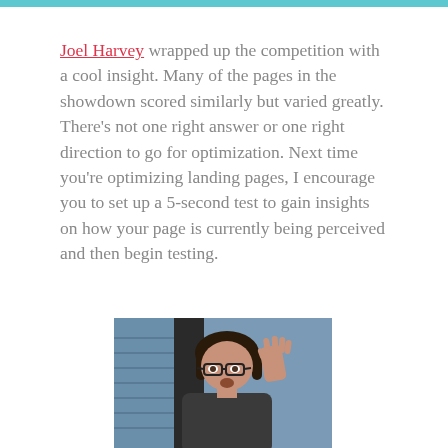Joel Harvey wrapped up the competition with a cool insight. Many of the pages in the showdown scored similarly but varied greatly. There's not one right answer or one right direction to go for optimization. Next time you're optimizing landing pages, I encourage you to set up a 5-second test to gain insights on how your page is currently being perceived and then begin testing.
[Figure (photo): A person with dark hair and glasses, raising their hand in a wave gesture, photographed indoors near a window.]